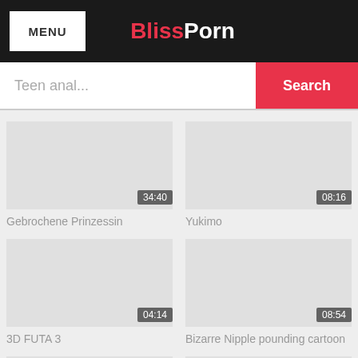MENU | BlissPorn
Teen anal...
Search
[Figure (screenshot): Video thumbnail placeholder, duration 34:40, title Gebrochene Prinzessin]
Gebrochene Prinzessin
[Figure (screenshot): Video thumbnail placeholder, duration 08:16, title Yukimo]
Yukimo
[Figure (screenshot): Video thumbnail placeholder, duration 04:14, title 3D FUTA 3]
3D FUTA 3
[Figure (screenshot): Video thumbnail placeholder, duration 08:54, title Bizarre Nipple pounding cartoon]
Bizarre Nipple pounding cartoon
[Figure (screenshot): Video thumbnail placeholder, duration 11:50]
[Figure (screenshot): Video thumbnail placeholder, duration 15:00]